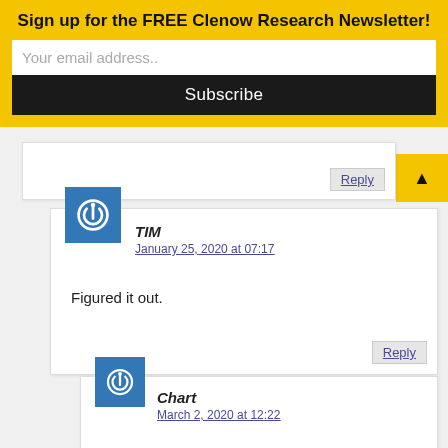Sign up for the FREE Clenow Research Newsletter!
Your email address..
Subscribe
Reply
TIM
January 25, 2020 at 07:17
Figured it out.
Reply
Chart
March 2, 2020 at 12:22
Same problem. What was the reason? Thank you!
Chip